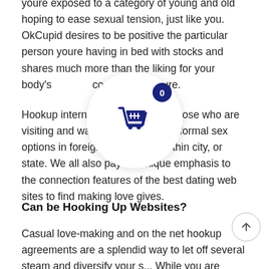youre exposed to a category of young and old hoping to ease sexual tension, just like you. OkCupid desires to be positive the particular person youre having in bed with stocks and shares much more than the liking for your body's cosmetic structure.
Hookup internet sites are designed for those who are visiting and want to seek out the informal sex options in foreign countries or within city, or state. We all also pay for unique emphasis to the connection features of the best dating web sites to find making love gives.
Can be Hooking Up Websites?
Casual love-making and on the net hookup agreements are a splendid way to let off several steam and diversify your s... While you are employing a get together site, no matter if you can
[Figure (other): Shopping cart icon in a white circle with a dark navy badge showing '0']
[Figure (other): Scroll-to-top arrow button circle in bottom right corner]